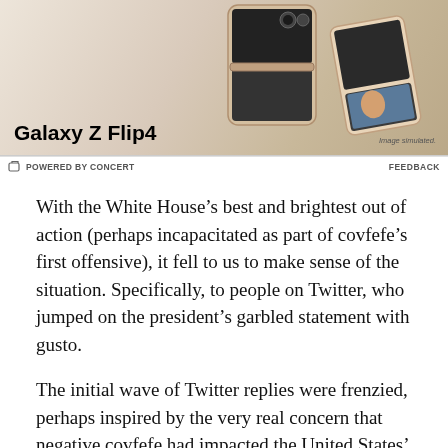[Figure (photo): Advertisement banner for Samsung Galaxy Z Flip4 smartphone showing the foldable phone in a gold/beige color against a neutral background. Text reads 'Galaxy Z Flip4' in bold. Bottom right says 'Image simulated.']
POWERED BY CONCERT
FEEDBACK
With the White House’s best and brightest out of action (perhaps incapacitated as part of covfefe’s first offensive), it fell to us to make sense of the situation. Specifically, to people on Twitter, who jumped on the president’s garbled statement with gusto.
The initial wave of Twitter replies were frenzied, perhaps inspired by the very real concern that negative covfefe had impacted the United States’ constitutional democracy. Others adapted to our new future quickly, working to keep their head down